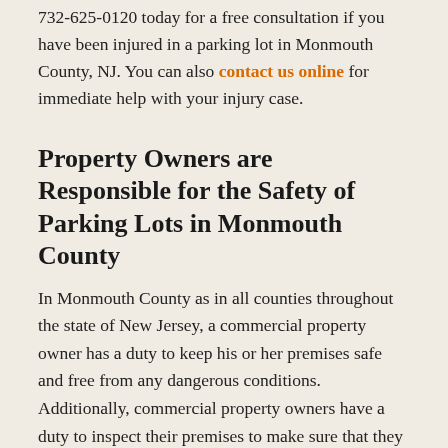732-625-0120 today for a free consultation if you have been injured in a parking lot in Monmouth County, NJ. You can also contact us online for immediate help with your injury case.
Property Owners are Responsible for the Safety of Parking Lots in Monmouth County
In Monmouth County as in all counties throughout the state of New Jersey, a commercial property owner has a duty to keep his or her premises safe and free from any dangerous conditions.  Additionally, commercial property owners have a duty to inspect their premises to make sure that they are free from any dangerous conditions.  This duty extends to all of the parking lots which are owned or